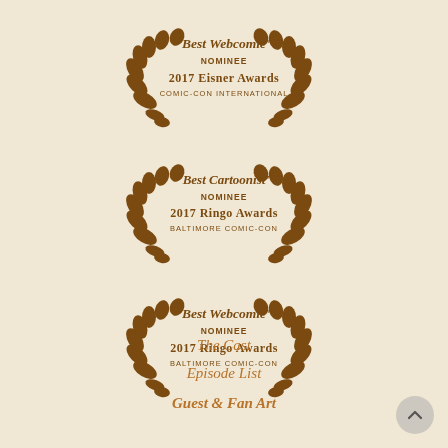[Figure (illustration): Award laurel badge: "Best Webcomic" Nominee 2017 Eisner Awards Comic-Con International]
[Figure (illustration): Award laurel badge: "Best Cartoonist" Nominee 2017 Ringo Awards Baltimore Comic-Con]
[Figure (illustration): Award laurel badge: "Best Webcomic" Nominee 2017 Ringo Awards Baltimore Comic-Con]
The Cast
Episode List
Guest & Fan Art